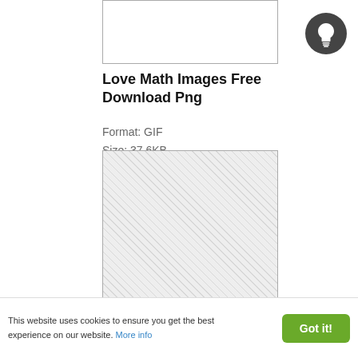[Figure (other): Thumbnail image placeholder box, white background with border, partially cut off at top]
[Figure (other): Circular dark grey icon with white lightbulb symbol]
Love Math Images Free Download Png
Format: GIF
Size: 37.6KB
Downloads: 95
[Figure (other): Large image placeholder box with checkered/hatched grey pattern in upper portion and white in lower portion, with border]
Math Images Transparent Image
This website uses cookies to ensure you get the best experience on our website. More info